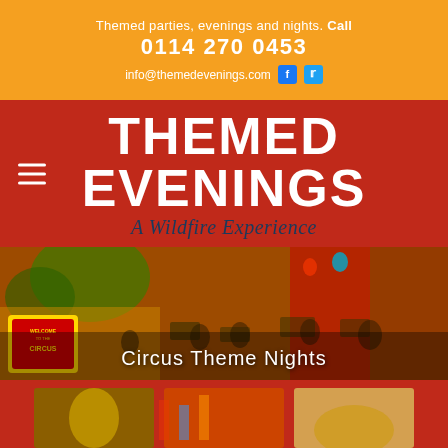Themed parties, evenings and nights. Call 0114 270 0453 info@themedevenings.com
THEMED EVENINGS A Wildfire Experience
[Figure (photo): Interior of a circus themed party venue with decorations, tables, chairs, and guests seated. A large 'Welcome to the Circus' sign is visible on the left. Overlaid text reads 'Circus Theme Nights'.]
[Figure (photo): Bottom collage of circus themed photos showing performers and decorations.]